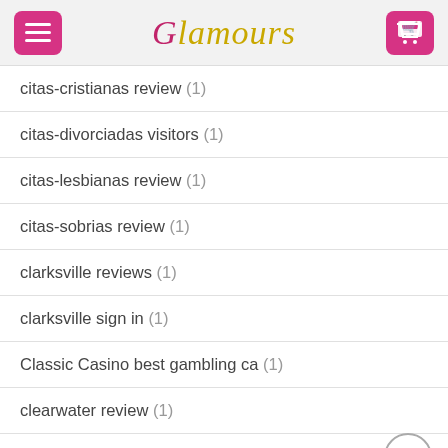Glamours
citas-cristianas review (1)
citas-divorciadas visitors (1)
citas-lesbianas review (1)
citas-sobrias review (1)
clarksville reviews (1)
clarksville sign in (1)
Classic Casino best gambling ca (1)
clearwater review (1)
cleveland reviews (1)
Cleveland+OH+Ohio wikipedia reference (1)